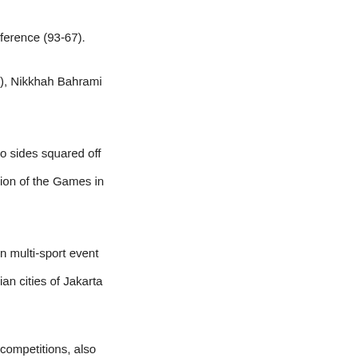ference (93-67).
), Nikkhah Bahrami
o sides squared off
ion of the Games in
n multi-sport event
ian cities of Jakarta
competitions, also